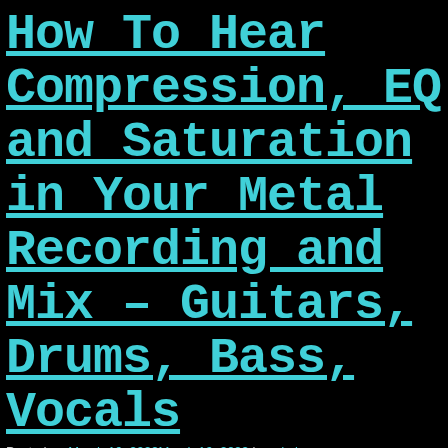How To Hear Compression, EQ and Saturation in Your Metal Recording and Mix – Guitars, Drums, Bass, Vocals
Posted on March 16, 2022March 16, 2022 by admin
[Figure (photo): Partial photo of a person with dark background, with large text 'THIS' visible at bottom]